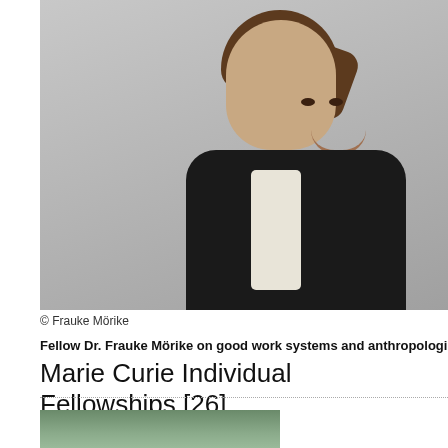[Figure (photo): Portrait photo of Dr. Frauke Mörike, a woman with dark hair pulled back in a ponytail, wearing a dark blazer over a white/cream shirt, smiling at the camera against a grey background.]
© Frauke Mörike
Fellow Dr. Frauke Mörike on good work systems and anthropological res...
Marie Curie Individual Fellowships [26]
[Figure (photo): Partial photo showing what appears to be green/teal colored objects, cropped at the bottom of the page.]